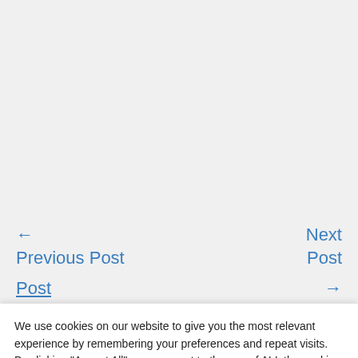← Previous Post
Next Post →
Post
We use cookies on our website to give you the most relevant experience by remembering your preferences and repeat visits. By clicking "Accept All", you consent to the use of ALL the cookies. However, you may visit "Cookie Settings" to provide a controlled consent.
Cookie Settings
Accept All